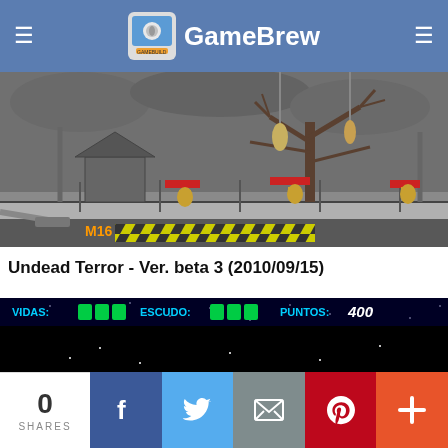GameBrew
[Figure (screenshot): Game screenshot from Undead Terror: dark grey-sky scene with bare spooky trees, fence, hanging figures, and zombie enemies visible. Bottom shows M16 gun and yellow health bar.]
Undead Terror - Ver. beta 3 (2010/09/15)
[Figure (screenshot): Space shooter game screenshot showing: VIDAS: (3 green bars), ESCUDO: (3 green bars), PUNTOS: 400. Black space background with stars, a planet surface, a blue spaceship bottom-left, and explosion/fireball in center.]
0 SHARES